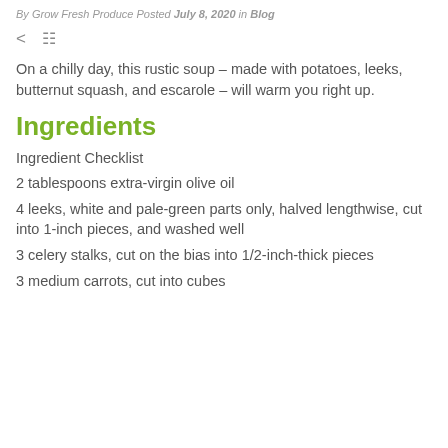By Grow Fresh Produce Posted July 8, 2020 in Blog
On a chilly day, this rustic soup – made with potatoes, leeks, butternut squash, and escarole – will warm you right up.
Ingredients
Ingredient Checklist
2 tablespoons extra-virgin olive oil
4 leeks, white and pale-green parts only, halved lengthwise, cut into 1-inch pieces, and washed well
3 celery stalks, cut on the bias into 1/2-inch-thick pieces
3 medium carrots, cut into cubes